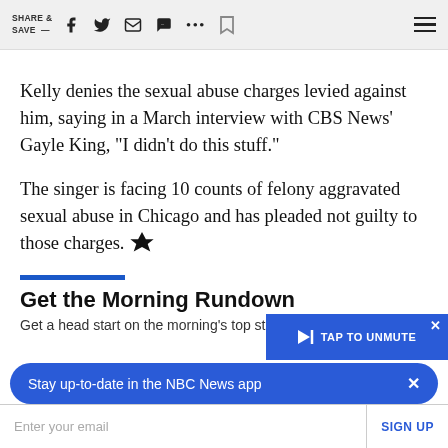SHARE & SAVE —  [facebook] [twitter] [mail] [chat] [...] [bookmark] [menu]
Kelly denies the sexual abuse charges levied against him, saying in a March interview with CBS News' Gayle King, "I didn't do this stuff."
The singer is facing 10 counts of felony aggravated sexual abuse in Chicago and has pleaded not guilty to those charges. [NBC logo]
Get the Morning Rundown
Get a head start on the morning's top sto
Stay up-to-date in the NBC News app
Enter your email
SIGN UP